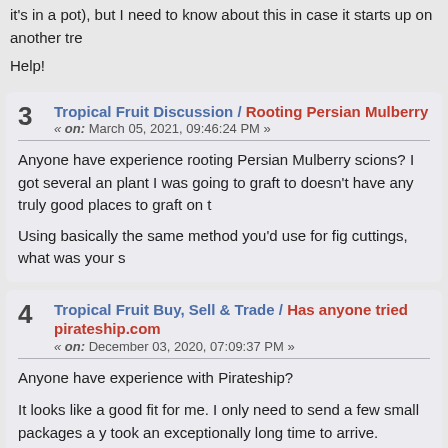it's in a pot), but I need to know about this in case it starts up on another tre
Help!
3 Tropical Fruit Discussion / Rooting Persian Mulberry « on: March 05, 2021, 09:46:24 PM »
Anyone have experience rooting Persian Mulberry scions?  I got several an plant I was going to graft to doesn't have any truly good places to graft on t
Using basically the same method you'd use for fig cuttings, what was your s
4 Tropical Fruit Buy, Sell & Trade / Has anyone tried pirateship.com « on: December 03, 2020, 07:09:37 PM »
Anyone have experience with Pirateship?
It looks like a good fit for me.  I only need to send a few small packages a y took an exceptionally long time to arrive.
I'm not setting foot in a post office until Covid's history.